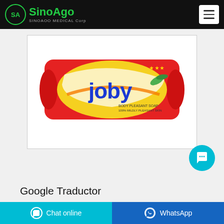SinoAoo SINOAOO MEDICAL Corp
[Figure (photo): Product photo of Joby branded bar/soap in red and yellow packaging]
Google Traductor
Chat online | WhatsApp